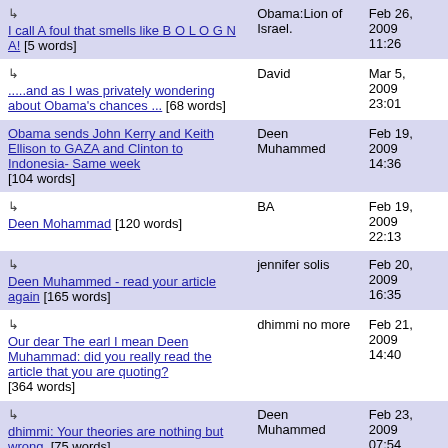| Title | Author | Date |
| --- | --- | --- |
| ↳ I call A foul that smells like B O L O G N A! [5 words] | Obama:Lion of Israel. | Feb 26, 2009 11:26 |
| ↳ .....and as I was privately wondering about Obama's chances ... [68 words] | David | Mar 5, 2009 23:01 |
| Obama sends John Kerry and Keith Ellison to GAZA and Clinton to Indonesia- Same week [104 words] | Deen Muhammed | Feb 19, 2009 14:36 |
| ↳ Deen Mohammad [120 words] | BA | Feb 19, 2009 22:13 |
| ↳ Deen Muhammed - read your article again [165 words] | jennifer solis | Feb 20, 2009 16:35 |
| ↳ Our dear The earl I mean Deen Muhammad: did you really read the article that you are quoting? [364 words] | dhimmi no more | Feb 21, 2009 14:40 |
| ↳ dhimmi: Your theories are nothing but wrong. [75 words] | Deen Muhammed | Feb 23, 2009 07:54 |